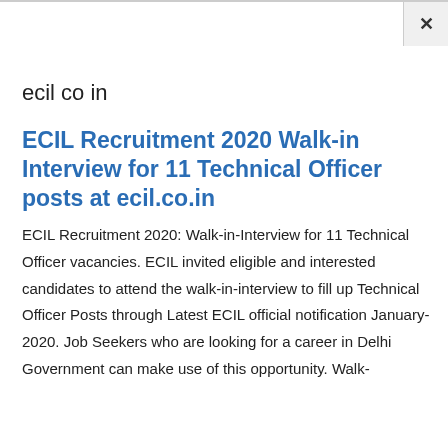ecil co in
ECIL Recruitment 2020 Walk-in Interview for 11 Technical Officer posts at ecil.co.in
ECIL Recruitment 2020: Walk-in-Interview for 11 Technical Officer vacancies. ECIL invited eligible and interested candidates to attend the walk-in-interview to fill up Technical Officer Posts through Latest ECIL official notification January-2020. Job Seekers who are looking for a career in Delhi Government can make use of this opportunity. Walk-